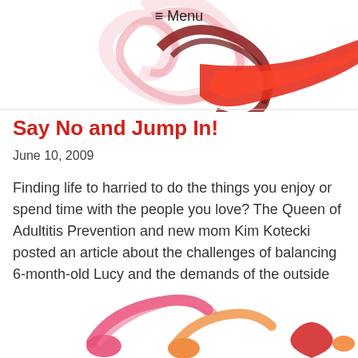≡ Menu
[Figure (illustration): Decorative header with swirling pink, dark red, and red/orange heart and swoosh shapes on white background]
Say No and Jump In!
June 10, 2009
Finding life to harried to do the things you enjoy or spend time with the people you love? The Queen of Adultitis Prevention and new mom Kim Kotecki posted an article about the challenges of balancing 6-month-old Lucy and the demands of the outside world. It's a common problem – there is always something you...
[Figure (illustration): Decorative footer with stylized figures and heart shapes in pink, orange, and red on white background]